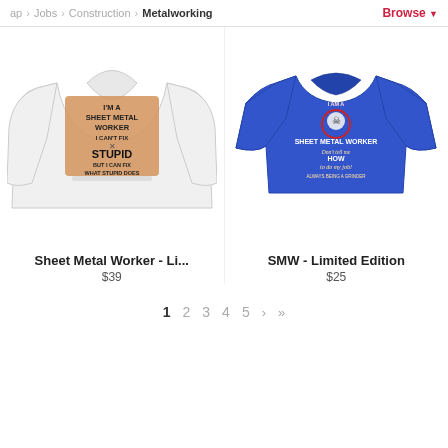ap > Jobs > Construction > Metalworking  Browse
[Figure (photo): White hoodie sweatshirt showing back print: I'M A SHEET METAL WORKER I CAN'T FIX STUPID BUT I CAN FIX WHAT STUPID DOES]
Sheet Metal Worker - Li...
$39
[Figure (photo): Royal blue t-shirt showing back print: I AM A SHEET METAL WORKER Don't tell me HOW to do my job!]
SMW - Limited Edition
$25
1  2  3  4  5  >  >>